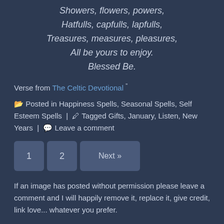Showers, flowers, powers,
Hatfulls, capfulls, lapfulls,
Treasures, measures, pleasures,
All be yours to enjoy.
Blessed Be.
Verse from The Celtic Devotional
📂 Posted in Happiness Spells, Seasonal Spells, Self Esteem Spells | 🖊 Tagged Gifts, January, Listen, New Years | 💬 Leave a comment
1  2  Next »
If an image has posted without permission please leave a comment and I will happily remove it, replace it, give credit, link love... whatever you prefer.